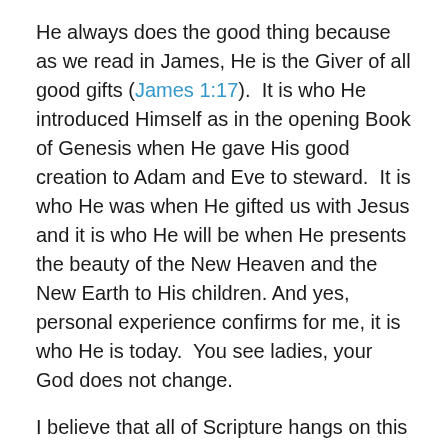He always does the good thing because as we read in James, He is the Giver of all good gifts (James 1:17).  It is who He introduced Himself as in the opening Book of Genesis when He gave His good creation to Adam and Eve to steward.  It is who He was when He gifted us with Jesus and it is who He will be when He presents the beauty of the New Heaven and the New Earth to His children. And yes, personal experience confirms for me, it is who He is today.  You see ladies, your God does not change.
I believe that all of Scripture hangs on this one immutable fact:  God does not change.  He is and will remain the God who He announces and shows Himself to be:  always holy, always love, always compassionate, always trustworthy, always just, and always faithful.  If we could but wrap our minds around the unchanging nature of God, let it form...